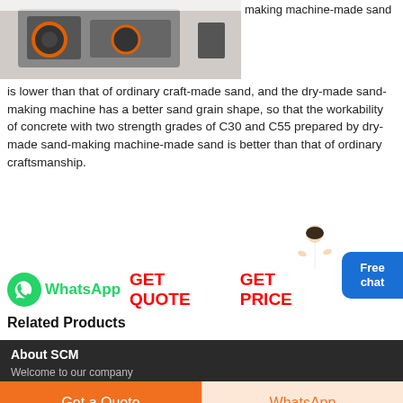[Figure (photo): Photo of a sand-making machine, showing mechanical equipment with orange and black components]
making machine-made sand is lower than that of ordinary craft-made sand, and the dry-made sand-making machine has a better sand grain shape, so that the workability of concrete with two strength grades of C30 and C55 prepared by dry-made sand-making machine-made sand is better than that of ordinary craftsmanship.
[Figure (photo): Customer service avatar illustration of a person in white]
[Figure (other): Free chat button (blue rounded rectangle)]
WhatsApp   GET QUOTE   GET PRICE
Related Products
About SCM
Welcome to our company
Shanghai SCM Mining and Construction Machinery Co., Ltd is listed...
Get a Quote
WhatsApp